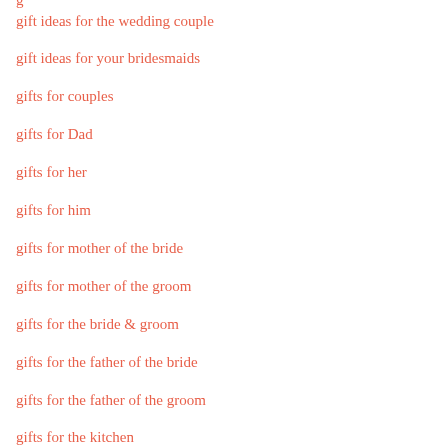g
gift ideas for the wedding couple
gift ideas for your bridesmaids
gifts for couples
gifts for Dad
gifts for her
gifts for him
gifts for mother of the bride
gifts for mother of the groom
gifts for the bride & groom
gifts for the father of the bride
gifts for the father of the groom
gifts for the kitchen
gifts for the mother of the bride & mother of the groom
gifts for the newlyweds